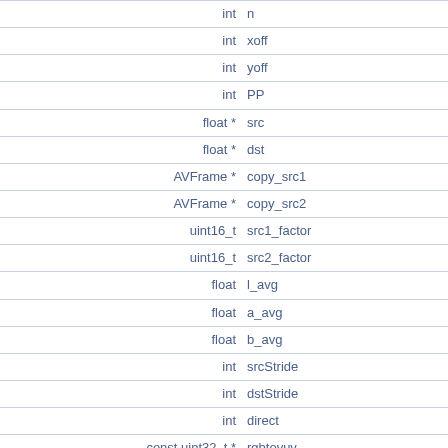| Type | Name |
| --- | --- |
| int | n |
| int | xoff |
| int | yoff |
| int | PP |
| float * | src |
| float * | dst |
| AVFrame * | copy_src1 |
| AVFrame * | copy_src2 |
| uint16_t | src1_factor |
| uint16_t | src2_factor |
| float | l_avg |
| float | a_avg |
| float | b_avg |
| int | srcStride |
| int | dstStride |
| int | direct |
| const uint32_t * | rgbtoyuv |
| const uint8_t * | main_data [4] |